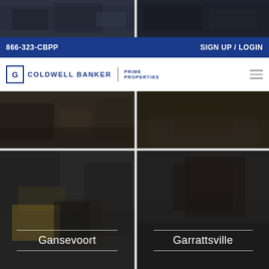[Figure (photo): Two dark interior room photos side by side at the top]
866-323-CBPP
SIGN UP / LOGIN
[Figure (logo): Coldwell Banker Prime Properties logo with hamburger menu icon]
[Figure (photo): Two dark interior bedroom/living room photos side by side]
[Figure (photo): Two dark interior photos with location overlays — Gansevoort and Garrattsville]